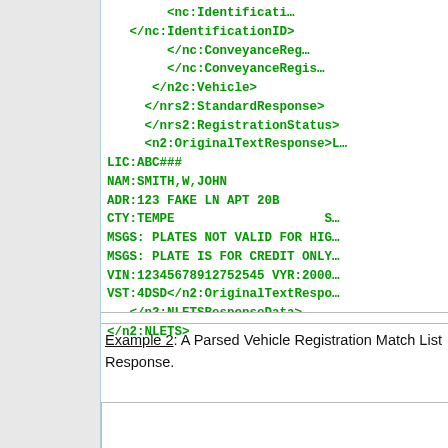[Figure (screenshot): XML code block showing vehicle registration response data with green monospace text on white background. Contains closing XML tags and plain-text response fields including LIC, NAM, ADR, CTY, MSGS, VIN, VST.]
Example 2: A Parsed Vehicle Registration Match List Response.
[Figure (screenshot): Beginning of a second XML code block example (partially visible).]